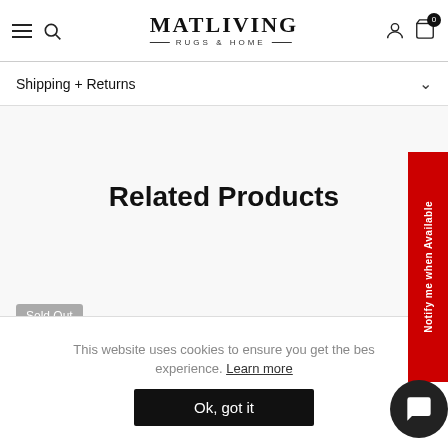MATLIVING RUGS & HOME
Shipping + Returns
Related Products
Sold Out
This website uses cookies to ensure you get the best experience. Learn more
Ok, got it